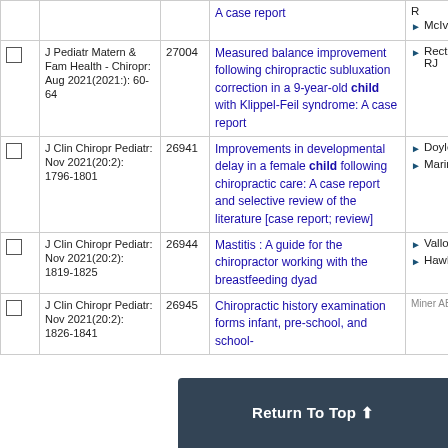|  | Journal | ID | Title | Authors |
| --- | --- | --- | --- | --- |
|  |  |  | A case report | R
McIvor C |
|  | J Pediatr Matern & Fam Health - Chiropr: Aug 2021(2021:): 60-64 | 27004 | Measured balance improvement following chiropractic subluxation correction in a 9-year-old child with Klippel-Feil syndrome: A case report | Rectenwald RJ |
|  | J Clin Chiropr Pediatr: Nov 2021(20:2): 1796-1801 | 26941 | Improvements in developmental delay in a female child following chiropractic care: A case report and selective review of the literature [case report; review] | Doyle M
Marinus M |
|  | J Clin Chiropr Pediatr: Nov 2021(20:2): 1819-1825 | 26944 | Mastitis : A guide for the chiropractor working with the breastfeeding dyad | Vallone S
Hawk C |
|  | J Clin Chiropr Pediatr: Nov 2021(20:2): 1826-1841 | 26945 | Chiropractic history examination forms infant, pre-school, and school- |  |